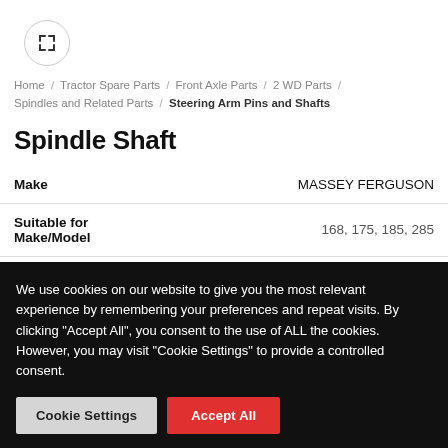[Figure (other): Expand/zoom icon button in a circular border]
Home / Tractor Spare Parts / Front Axle Parts / 2 WD Parts / Spindles and Related Parts / Steering Arm Pins and Shafts
Spindle Shaft
| Attribute | Value |
| --- | --- |
| Make | MASSEY FERGUSON |
| Suitable for Make/Model | 168, 175, 185, 285 |
| SKU | MF10010305-002 |
We use cookies on our website to give you the most relevant experience by remembering your preferences and repeat visits. By clicking "Accept All", you consent to the use of ALL the cookies. However, you may visit "Cookie Settings" to provide a controlled consent.
Cookie Settings  Accept All